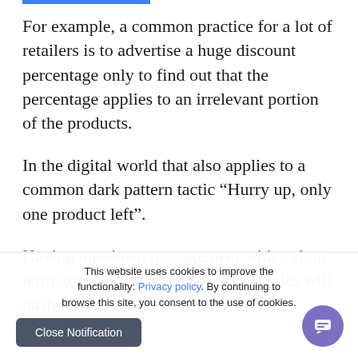For example, a common practice for a lot of retailers is to advertise a huge discount percentage only to find out that the percentage applies to an irrelevant portion of the products.
In the digital world that also applies to a common dark pattern tactic “Hurry up, only one product left”.
Having top-down management with a short term goal of increasing specific metrics will push the management to use any tactic to reach the target
This website uses cookies to improve the functionality: Privacy policy. By continuing to browse this site, you consent to the use of cookies.